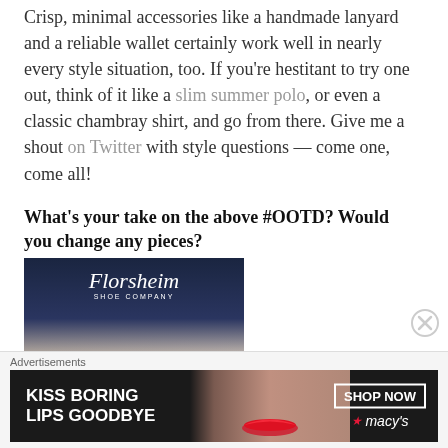Crisp, minimal accessories like a handmade lanyard and a reliable wallet certainly work well in nearly every style situation, too. If you're hestitant to try one out, think of it like a slim summer polo, or even a classic chambray shirt, and go from there. Give me a shout on Twitter with style questions — come one, come all!
What's your take on the above #OOTD? Would you change any pieces?
[Figure (photo): Florsheim Shoe Company advertisement showing shoes and legs with 10% OFF promo code LNK10]
[Figure (photo): Macy's advertisement: KISS BORING LIPS GOODBYE with SHOP NOW button and Macy's star logo]